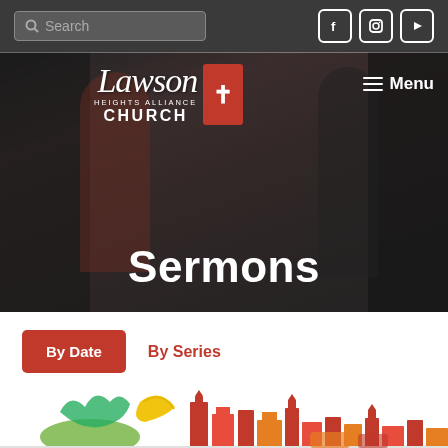Search | Social icons: Facebook, Instagram, YouTube
[Figure (logo): Lawson Heights Alliance Church logo with red cross badge on dark hero background with crowd photo]
Sermons
By Date
By Series
[Figure (illustration): Colorful city skyline with produce/food items in foreground, partially visible at bottom of page]